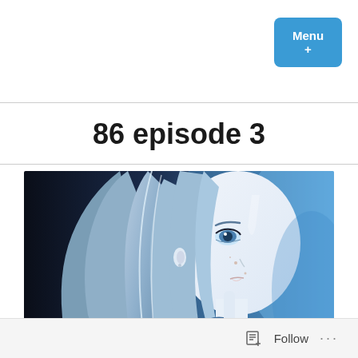Menu +
86 episode 3
[Figure (illustration): Anime screenshot from '86' episode 3 showing a female character with long blue-white hair, blue eyes, fair skin with freckles, looking upward with a serious expression. Background transitions from dark left to bright blue right.]
Follow ...